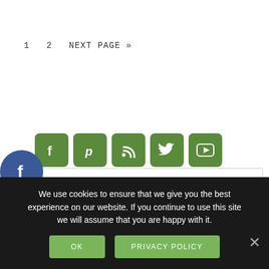1   2   NEXT PAGE »
[Figure (screenshot): Search bar with magnifying glass icon]
[Figure (infographic): Floating social media icons: Facebook (blue circle), Twitter (light blue circle), Pinterest (red circle)]
[Figure (infographic): Green social share buttons row: Facebook, Pinterest, RSS, Twitter, YouTube]
We use cookies to ensure that we give you the best experience on our website. If you continue to use this site we will assume that you are happy with it.
OK   PRIVACY POLICY